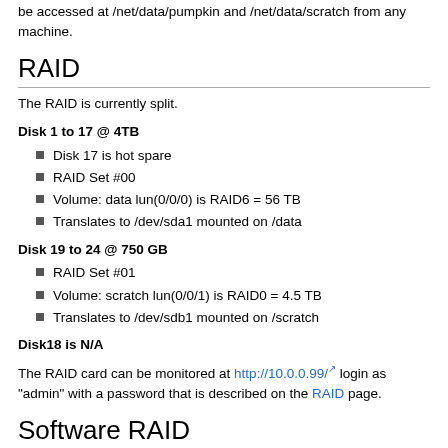be accessed at /net/data/pumpkin and /net/data/scratch from any machine.
RAID
The RAID is currently split.
Disk 1 to 17 @ 4TB
Disk 17 is hot spare
RAID Set #00
Volume: data lun(0/0/0) is RAID6 = 56 TB
Translates to /dev/sda1 mounted on /data
Disk 19 to 24 @ 750 GB
RAID Set #01
Volume: scratch lun(0/0/1) is RAID0 = 4.5 TB
Translates to /dev/sdb1 mounted on /scratch
Disk18 is N/A
The RAID card can be monitored at http://10.0.0.99/ login as "admin" with a password that is described on the RAID page.
Software RAID
There are 2 internal drives in Pumpkin forming a software RAID. Note these are *not identical* partitions on the drives, so the RAID does not look